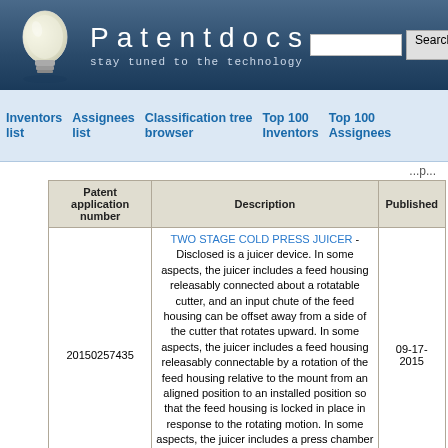[Figure (logo): Patentdocs website header with lightbulb logo, site title 'Patentdocs', subtitle 'stay tuned to the technology', search box and Search button]
Inventors list | Assignees list | Classification tree browser | Top 100 Inventors | Top 100 Assignees
...p...
| Patent application number | Description | Published |
| --- | --- | --- |
| 20150257435 | TWO STAGE COLD PRESS JUICER - Disclosed is a juicer device. In some aspects, the juicer includes a feed housing releasably connected about a rotatable cutter, and an input chute of the feed housing can be offset away from a side of the cutter that rotates upward. In some aspects, the juicer includes a feed housing releasably connectable by a rotation of the feed housing relative to the mount from an aligned position to an installed position so that the feed housing is locked in place in response to the rotating motion. In some aspects, the juicer includes a press chamber in which pulp can be squeezed for juice extraction. The press... | 09-17-2015 |